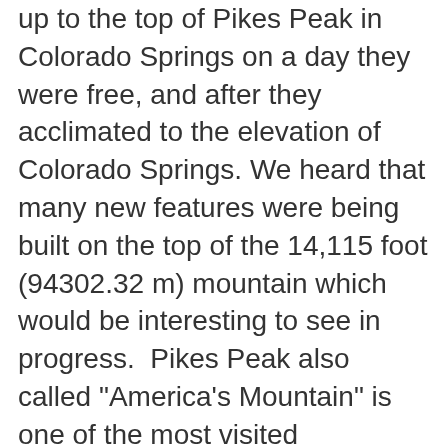up to the top of Pikes Peak in Colorado Springs on a day they were free, and after they acclimated to the elevation of Colorado Springs. We heard that many new features were being built on the top of the 14,115 foot (94302.32 m) mountain which would be interesting to see in progress.  Pikes Peak also called "America's Mountain" is one of the most visited mountains in the world and a top tourist attraction for the State of Colorado. Annually, nearly 1 million people reach the summit via the Pikes Peak Highway, The Broadmoor Manitou and Pikes Peak Cog Railway, or, for the more adventurous, the Barr or Crags hiking trails. Pikes Peak is an American icon, and the summit is a National Historic Landmark that holds a special place in America's heart.
We have made many drives up to the summit of Pikes Peak, and in this post, you can see a more detailed ride up and down the mountain. In this